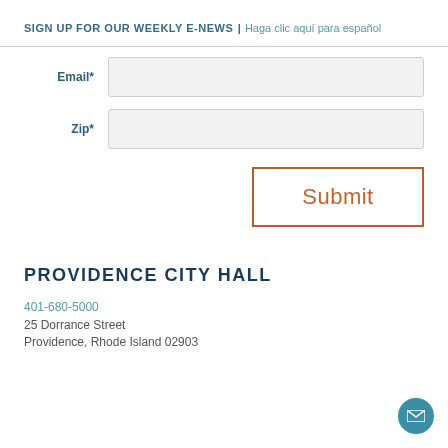SIGN UP FOR OUR WEEKLY E-NEWS | Haga clic aquí para español
Email*
Zip*
Submit
PROVIDENCE CITY HALL
401-680-5000
25 Dorrance Street
Providence, Rhode Island 02903